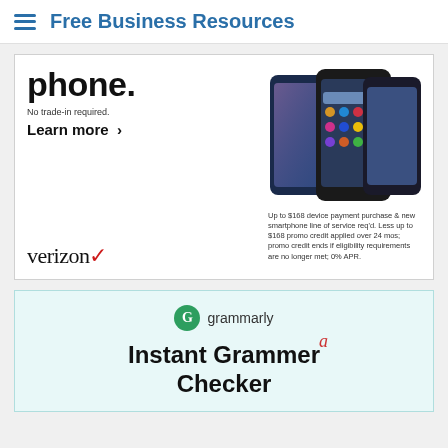Free Business Resources
[Figure (infographic): Verizon advertisement showing smartphones and text: 'phone. No trade-in required. Learn more > verizon checkmark'. Disclaimer: 'Up to $168 device payment purchase & new smartphone line of service req'd. Less up to $168 promo credit applied over 24 mos; promo credit ends if eligibility requirements are no longer met; 0% APR.']
[Figure (infographic): Grammarly advertisement with green G logo, brand name 'grammarly', headline 'Instant Grammar Checker' with red correction mark showing 'a' above, and partially visible text below.]